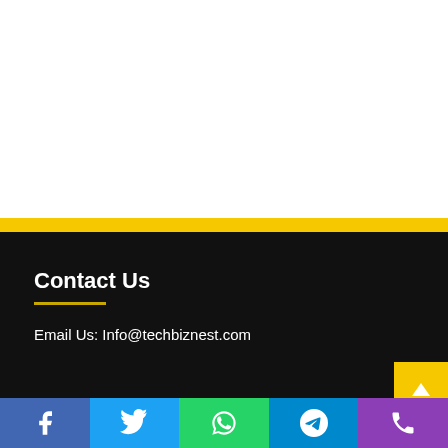Contact Us
Email Us: Info@techbiznest.com
About US
Facebook | Twitter | WhatsApp | Telegram | Phone